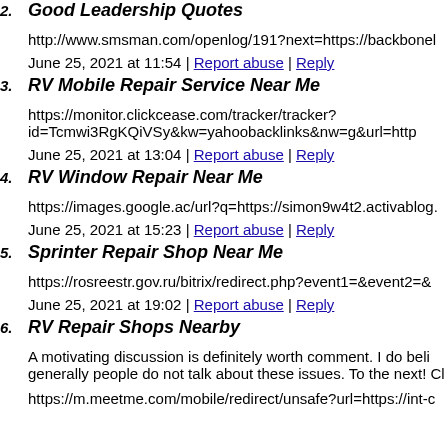2. Good Leadership Quotes
http://www.smsman.com/openlog/191?next=https://backbonel...
June 25, 2021 at 11:54 | Report abuse | Reply
3. RV Mobile Repair Service Near Me
https://monitor.clickcease.com/tracker/tracker?id=Tcmwi3RgKQiVSy&kw=yahoobacklinks&nw=g&url=http...
June 25, 2021 at 13:04 | Report abuse | Reply
4. RV Window Repair Near Me
https://images.google.ac/url?q=https://simon9w4t2.activablog....
June 25, 2021 at 15:23 | Report abuse | Reply
5. Sprinter Repair Shop Near Me
https://rosreestr.gov.ru/bitrix/redirect.php?event1=&event2=&...
June 25, 2021 at 19:02 | Report abuse | Reply
6. RV Repair Shops Nearby
A motivating discussion is definitely worth comment. I do beli... generally people do not talk about these issues. To the next! Cl...
https://m.meetme.com/mobile/redirect/unsafe?url=https://int-c...